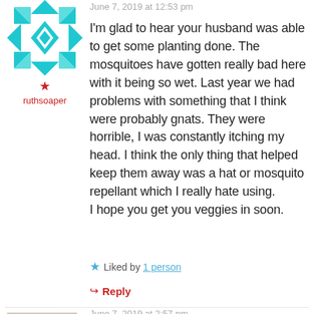June 7, 2019 at 12:53 pm
[Figure (illustration): Teal/cyan geometric snowflake/quilt-pattern avatar icon]
★ ruthsoaper
I'm glad to hear your husband was able to get some planting done. The mosquitoes have gotten really bad here with it being so wet. Last year we had problems with something that I think were probably gnats. They were horrible, I was constantly itching my head. I think the only thing that helped keep them away was a hat or mosquito repellant which I really hate using.
I hope you get you veggies in soon.
★ Liked by 1 person
↳ Reply
June 7, 2019 at 2:57 pm